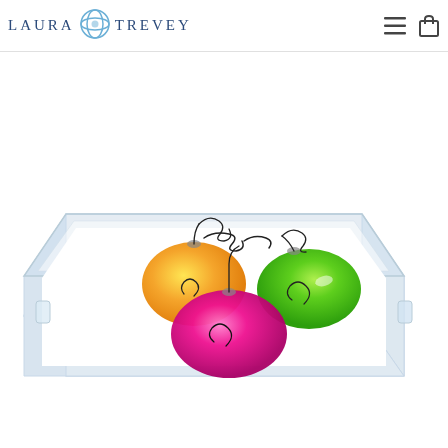LAURA TREVEY — navigation header with logo, hamburger menu, and cart icon
[Figure (photo): Product photo of an acrylic lucite serving tray featuring watercolor-style Christmas ornaments (orange/yellow, hot pink/magenta, and bright green) with black swirl cap details, on a white background. The tray is clear acrylic with visible side depth and handles.]